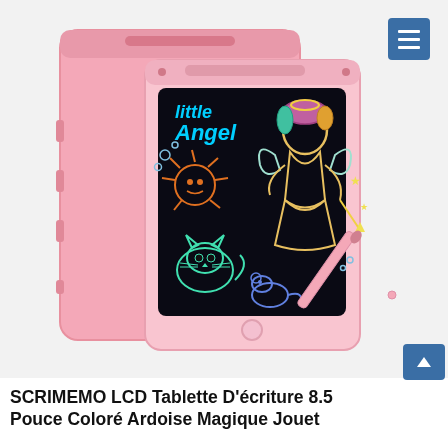[Figure (photo): Product photo of a pink SCRIMEMO LCD writing tablet showing a colorful drawing of a little angel girl with wings, a cat, a sun creature, and a mouse on the black display screen. A pink stylus pen rests to the right of the tablet. The back of the tablet is also visible behind the front. Text on the screen reads 'little Angel' in colorful letters.]
SCRIMEMO LCD Tablette D'écriture 8.5 Pouce Coloré Ardoise Magique Jouet...